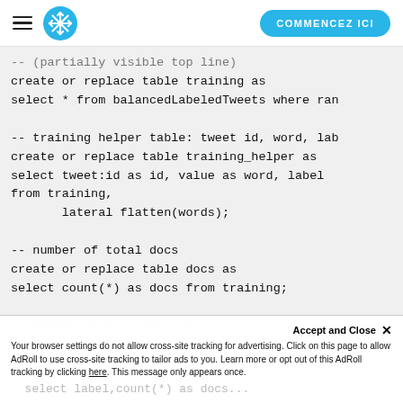COMMENCEZ ICI
create or replace table training as
select * from balancedLabeledTweets where ran

-- training helper table: tweet id, word, lab
create or replace table training_helper as
select tweet:id as id, value as word, label
from training,
    lateral flatten(words);

-- number of total docs
create or replace table docs as
select count(*) as docs from training;
-- number of docs per class }
select label,count(*) as docs...